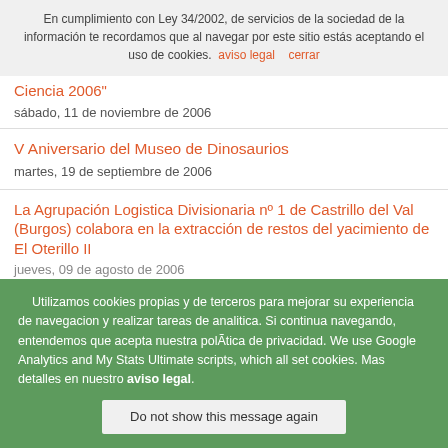En cumplimiento con Ley 34/2002, de servicios de la sociedad de la información te recordamos que al navegar por este sitio estás aceptando el uso de cookies. aviso legal  cerrar
Ciencia 2006"
sábado, 11 de noviembre de 2006
V Aniversario del Museo de Dinosaurios
martes, 19 de septiembre de 2006
La Agrupación Logistica Divisionaria nº 1 de Castrillo del Val (Burgos) colabora en la extracción de restos del yacimiento de El Oterillo II
jueves, 09 de agosto de 2006
"P... DINOSAUR...
Utilizamos cookies propias y de terceros para mejorar su experiencia de navegacion y realizar tareas de analitica. Si continua navegando, entendemos que acepta nuestra polÃtica de privacidad. We use Google Analytics and My Stats Ultimate scripts, which all set cookies. Mas detalles en nuestro aviso legal.
Do not show this message again